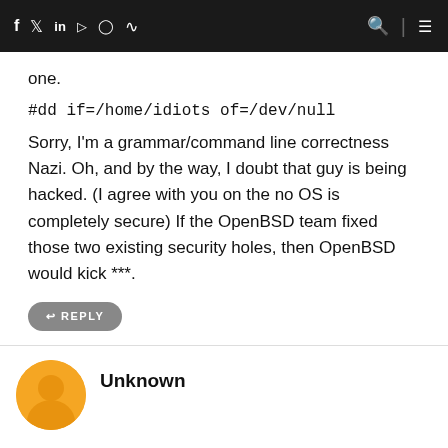Navigation bar with social icons and menu
one.
#dd if=/home/idiots of=/dev/null
Sorry, I'm a grammar/command line correctness Nazi. Oh, and by the way, I doubt that guy is being hacked. (I agree with you on the no OS is completely secure) If the OpenBSD team fixed those two existing security holes, then OpenBSD would kick ***.
REPLY
Unknown